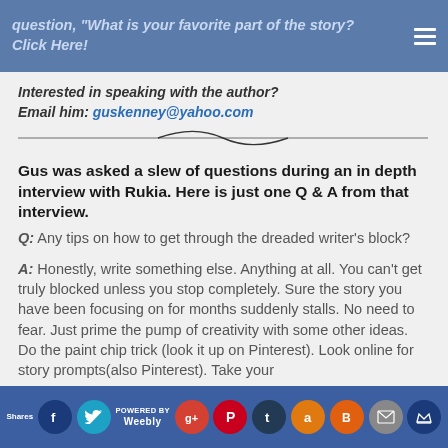question, "What is your favorite part of the story? Click Here!
Interested in speaking with the author? Email him: guskenney@yahoo.com
Gus was asked a slew of questions during an in depth interview with Rukia. Here is just one Q & A from that interview.
Q: Any tips on how to get through the dreaded writer's block?
A: Honestly, write something else. Anything at all. You can't get truly blocked unless you stop completely. Sure the story you have been focusing on for months suddenly stalls. No need to fear. Just prime the pump of creativity with some other ideas. Do the paint chip trick (look it up on Pinterest). Look online for story prompts(also Pinterest). Take your
Shares | social share icons | POWERED BY Weebly